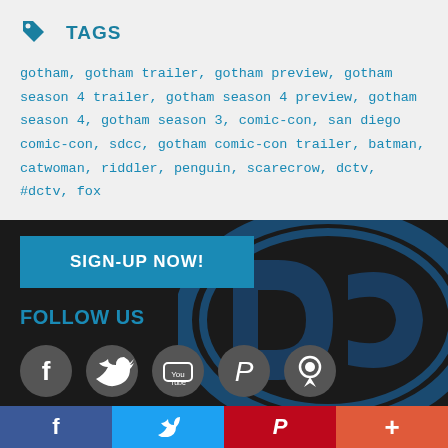TAGS
gotham, gotham trailer, gotham preview, gotham season 4 trailer, gotham season 4 preview, gotham season 4, gotham season 3, comic-con, san diego comic-con, sdcc, gotham comic-con trailer, batman, catwoman, riddler, penguin, scarecrow, dctv, #dctv, fox
SIGN-UP NOW!
FOLLOW US
[Figure (logo): DC Entertainment logo watermark in dark blue on dark background]
[Figure (infographic): Social media icons: Facebook, Twitter, YouTube, Pinterest, Periscope]
All Site Content TM and © 2020 DC Entertainment, unless otherwise noted here. All rights reserved.
f  (twitter bird)  P  +